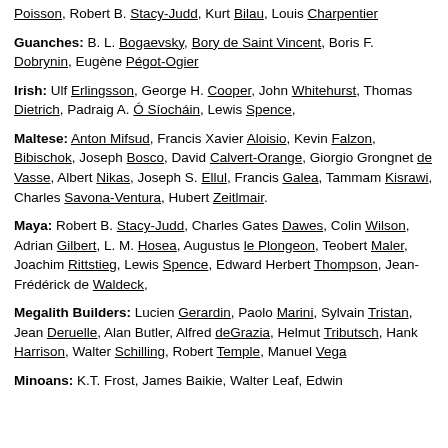Poisson, Robert B. Stacy-Judd, Kurt Bilau, Louis Charpentier
Guanches: B. L. Bogaevsky, Bory de Saint Vincent, Boris F. Dobrynin, Eugène Pégot-Ogier
Irish: Ulf Erlingsson, George H. Cooper, John Whitehurst, Thomas Dietrich, Padraig A. Ó Síocháin, Lewis Spence,
Maltese: Anton Mifsud, Francis Xavier Aloisio, Kevin Falzon, Bibischok, Joseph Bosco, David Calvert-Orange, Giorgio Grongnet de Vasse, Albert Nikas, Joseph S. Ellul, Francis Galea, Tammam Kisrawi, Charles Savona-Ventura, Hubert Zeitlmair.
Maya: Robert B. Stacy-Judd, Charles Gates Dawes, Colin Wilson, Adrian Gilbert, L. M. Hosea, Augustus le Plongeon, Teobert Maler, Joachim Rittstieg, Lewis Spence, Edward Herbert Thompson, Jean-Frédérick de Waldeck,
Megalith Builders: Lucien Gerardin, Paolo Marini, Sylvain Tristan, Jean Deruelle, Alan Butler, Alfred deGrazia, Helmut Tributsch, Hank Harrison, Walter Schilling, Robert Temple, Manuel Vega
Minoans: K.T. Frost, James Baikie, Walter Leaf, Edwin